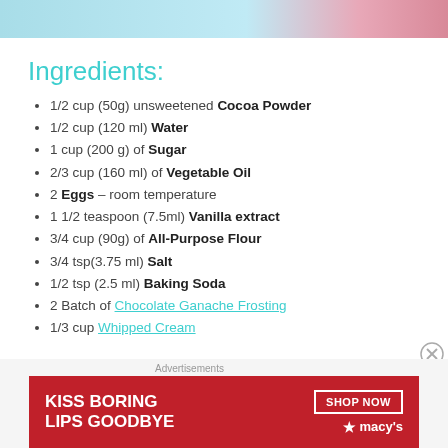[Figure (photo): Decorative top image with light blue and pink gradient, suggesting a food/dessert photo]
Ingredients:
1/2 cup (50g) unsweetened Cocoa Powder
1/2 cup (120 ml) Water
1 cup (200 g) of Sugar
2/3 cup (160 ml) of Vegetable Oil
2 Eggs – room temperature
1 1/2 teaspoon (7.5ml) Vanilla extract
3/4 cup (90g) of All-Purpose Flour
3/4 tsp(3.75 ml) Salt
1/2 tsp (2.5 ml) Baking Soda
2 Batch of Chocolate Ganache Frosting
1/3 cup Whipped Cream
[Figure (advertisement): Macy's advertisement: KISS BORING LIPS GOODBYE with SHOP NOW button and Macy's logo]